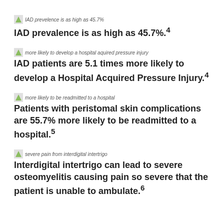[Figure (illustration): Small green leaf/icon image with caption text: IAD prevelence is as high as 45.7%]
IAD prevalence is as high as 45.7%.⁴
[Figure (illustration): Small green leaf/icon image with caption text: more likely to develop a hospital aquired pressure injury]
IAD patients are 5.1 times more likely to develop a Hospital Acquired Pressure Injury.⁴
[Figure (illustration): Small green leaf/icon image with caption text: more likely to be readmitted to a hospital]
Patients with peristomal skin complications are 55.7% more likely to be readmitted to a hospital.⁵
[Figure (illustration): Small green leaf/icon image with caption text: severe pain from interdigital intertrigo]
Interdigital intertrigo can lead to severe osteomyelitis causing pain so severe that the patient is unable to ambulate.⁶